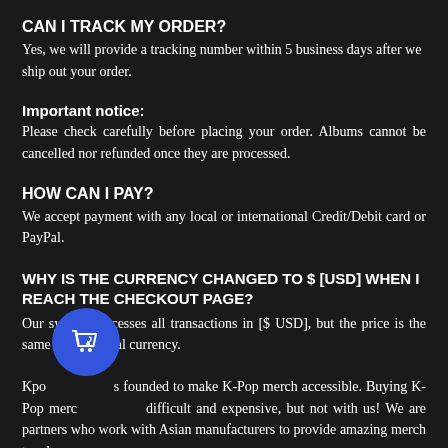CAN I TRACK MY ORDER?
Yes, we will provide a tracking number within 5 business days after we ship out your order.
Important notice:
Please check carefully before placing your order. Albums cannot be cancelled nor refunded once they are processed.
HOW CAN I PAY?
We accept payment with any local or international Credit/Debit card or PayPal.
WHY IS THE CURRENCY CHANGED TO $ [USD] WHEN I REACH THE CHECKOUT PAGE?
Our system processes all transactions in [$ USD], but the price is the same as your local currency.
Kpop was founded to make K-Pop merch accessible. Buying K-Pop merch is difficult and expensive, but not with us! We are partners who work with Asian manufacturers to provide amazing merch to wherever you are with free shipping. Our customer support team is available to assist you.